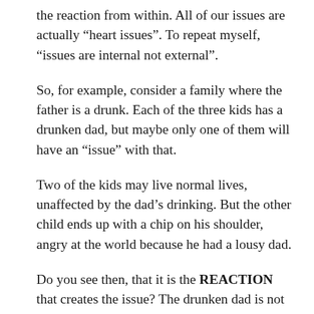the reaction from within. All of our issues are actually “heart issues”. To repeat myself, “issues are internal not external”.
So, for example, consider a family where the father is a drunk. Each of the three kids has a drunken dad, but maybe only one of them will have an “issue” with that.
Two of the kids may live normal lives, unaffected by the dad’s drinking. But the other child ends up with a chip on his shoulder, angry at the world because he had a lousy dad.
Do you see then, that it is the REACTION that creates the issue? The drunken dad is not an issue or all three kids would have had the same issue. The